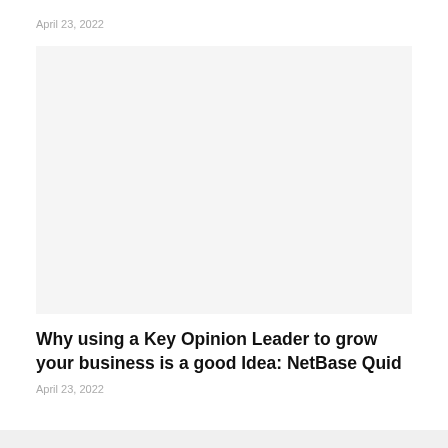April 23, 2022
[Figure (photo): Large image placeholder area, light gray background]
Why using a Key Opinion Leader to grow your business is a good Idea: NetBase Quid
April 23, 2022